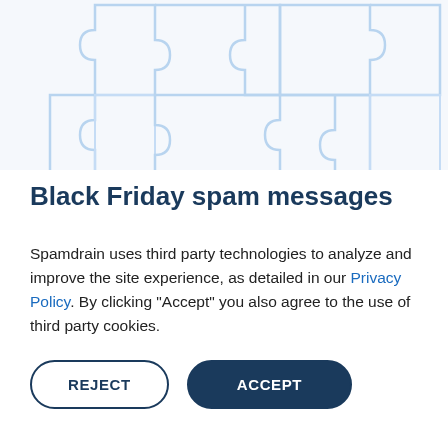[Figure (illustration): Light blue puzzle piece outlines on a pale blue/white background, showing interlocking puzzle shapes as a decorative illustration]
Black Friday spam messages
Spamdrain uses third party technologies to analyze and improve the site experience, as detailed in our Privacy Policy. By clicking "Accept" you also agree to the use of third party cookies.
REJECT | ACCEPT (cookie consent buttons)